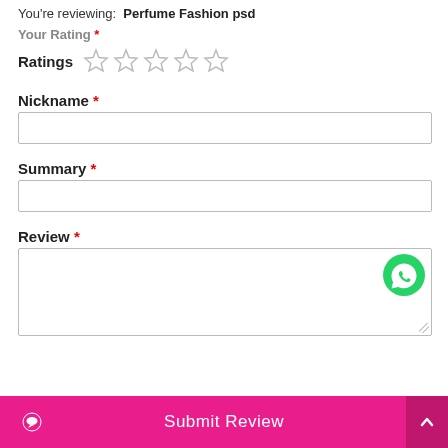You're reviewing: Perfume Fashion psd
Your Rating *
[Figure (other): Five empty star rating icons for user rating input]
Nickname *
Summary *
Review *
Submit Review